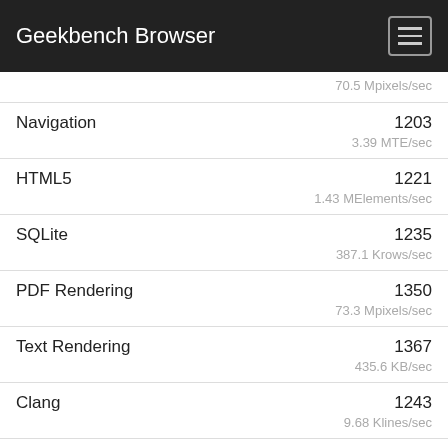Geekbench Browser
70.5 Mpixels/sec
Navigation 1203 3.39 MTE/sec
HTML5 1221 1.43 MElements/sec
SQLite 1235 387.1 Krows/sec
PDF Rendering 1350 73.3 Mpixels/sec
Text Rendering 1367 435.6 KB/sec
Clang 1243 9.68 Klines/sec
Camera 1262 14.6 images/sec
N-Body Physics 1355